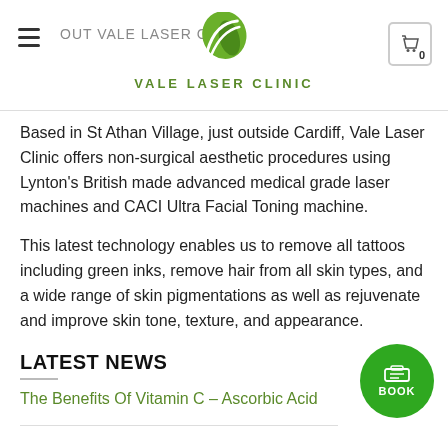VALE LASER CLINIC
Based in St Athan Village, just outside Cardiff, Vale Laser Clinic offers non-surgical aesthetic procedures using Lynton's British made advanced medical grade laser machines and CACI Ultra Facial Toning machine.
This latest technology enables us to remove all tattoos including green inks, remove hair from all skin types, and a wide range of skin pigmentations as well as rejuvenate and improve skin tone, texture, and appearance.
LATEST NEWS
The Benefits Of Vitamin C – Ascorbic Acid